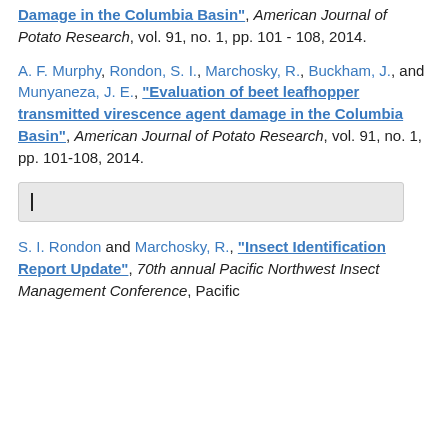Damage in the Columbia Basin", American Journal of Potato Research, vol. 91, no. 1, pp. 101 - 108, 2014.
A. F. Murphy, Rondon, S. I., Marchosky, R., Buckham, J., and Munyaneza, J. E., "Evaluation of beet leafhopper transmitted virescence agent damage in the Columbia Basin", American Journal of Potato Research, vol. 91, no. 1, pp. 101-108, 2014.
I
S. I. Rondon and Marchosky, R., "Insect Identification Report Update", 70th annual Pacific Northwest Insect Management Conference, Pacific